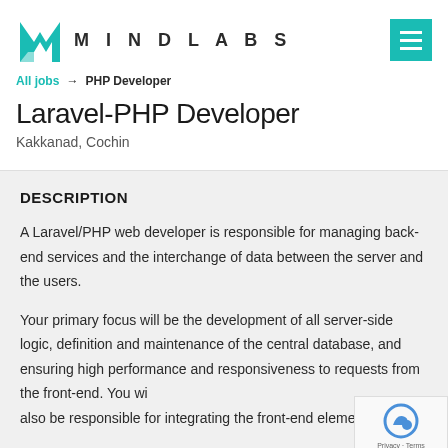MINDLABS
All jobs → PHP Developer
Laravel-PHP Developer
Kakkanad, Cochin
DESCRIPTION
A Laravel/PHP web developer is responsible for managing back-end services and the interchange of data between the server and the users.
Your primary focus will be the development of all server-side logic, definition and maintenance of the central database, and ensuring high performance and responsiveness to requests from the front-end. You will also be responsible for integrating the front-end elements built by your co-workers into the application.